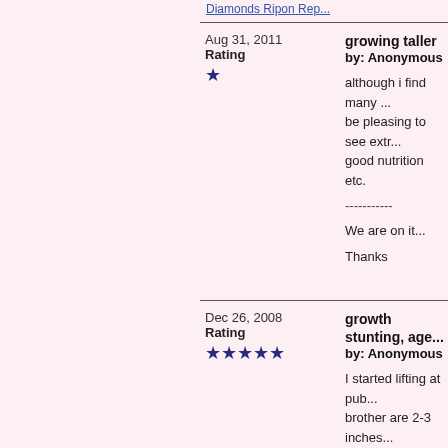Diamonds Ripon Rep...
Aug 31, 2011
Rating
★
growing taller
by: Anonymous

although i find many ...
be pleasing to see extr...
good nutrition etc.

-----------

We are on it...

Thanks
Dec 26, 2008
Rating
★★★★★
growth stunting, age...
by: Anonymous

I started lifting at pub...
brother are 2-3 inches...
at age 16 I was able to...
600lbs weight about 1...

Since that time my ne...
inches my bicephs are...
inches. My waste and...